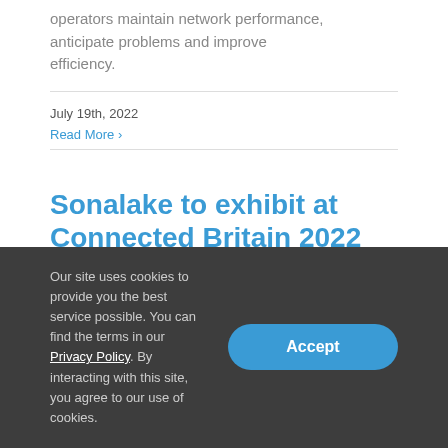operators maintain network performance, anticipate problems and improve efficiency.
July 19th, 2022
Read More >
Sonalake to exhibit at Connected Britain 2022
Our site uses cookies to provide you the best service possible. You can find the terms in our Privacy Policy. By interacting with this site, you agree to our use of cookies.